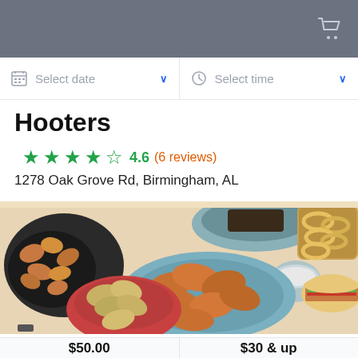Select date
Select time
Hooters
4.6 (6 reviews)
1278 Oak Grove Rd, Birmingham, AL
[Figure (photo): Assorted Hooters food items including fried shrimp, wings, potato chips, onion rings, dipping sauces, and a sandwich on a white wooden table]
$50.00
$30 & up